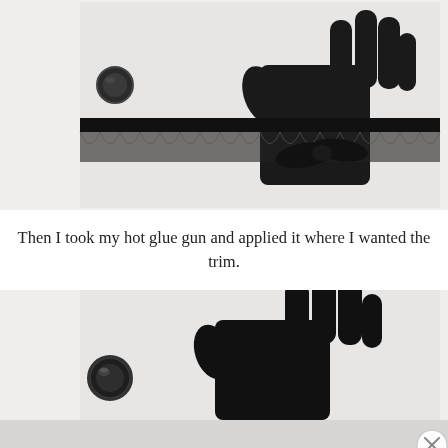[Figure (photo): A black glove laid flat on a white surface, with black lace trim and ribbon laid across the wrist area, and a black gem/button beside it. The materials needed for the craft project are displayed.]
Then I took my hot glue gun and applied it where I wanted the trim.
[Figure (photo): A black glove laid flat on a white surface with a black gem/jewel button beside it, showing the glove before trim is applied. The bottom of the image is partially cut off showing a reflection.]